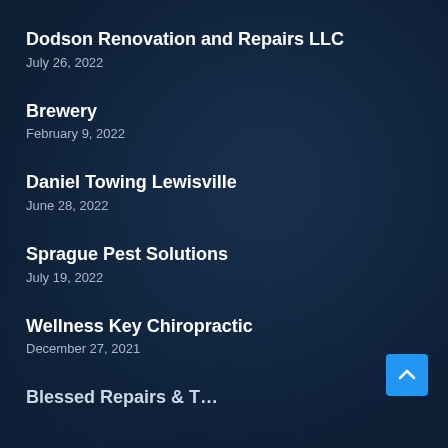Dodson Renovation and Repairs LLC
July 26, 2022
Brewery
February 9, 2022
Daniel Towing Lewisville
June 28, 2022
Sprague Pest Solutions
July 19, 2022
Wellness Key Chiropractic
December 27, 2021
[Figure (other): Blue scroll-to-top button with upward chevron arrow]
Blessed Repairs &amp; T…